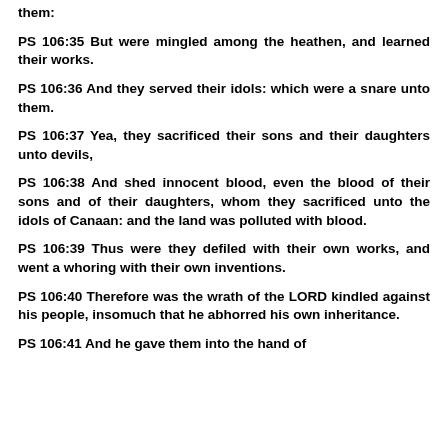them:
PS 106:35 But were mingled among the heathen, and learned their works.
PS 106:36 And they served their idols: which were a snare unto them.
PS 106:37 Yea, they sacrificed their sons and their daughters unto devils,
PS 106:38 And shed innocent blood, even the blood of their sons and of their daughters, whom they sacrificed unto the idols of Canaan: and the land was polluted with blood.
PS 106:39 Thus were they defiled with their own works, and went a whoring with their own inventions.
PS 106:40 Therefore was the wrath of the LORD kindled against his people, insomuch that he abhorred his own inheritance.
PS 106:41 And he gave them into the hand of